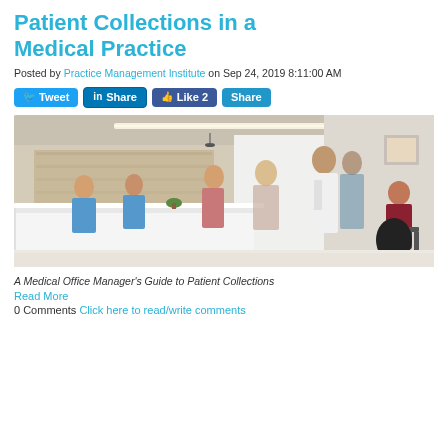Patient Collections in a Medical Practice
Posted by Practice Management Institute on Sep 24, 2019 8:11:00 AM
[Figure (other): Social sharing buttons: Tweet, Share (LinkedIn), Like 2 (Facebook), Share]
[Figure (photo): Medical office reception area with nurses behind a white front desk, patients and a doctor in a white coat standing and walking in a bright clinical interior]
A Medical Office Manager's Guide to Patient Collections
Read More
0 Comments Click here to read/write comments